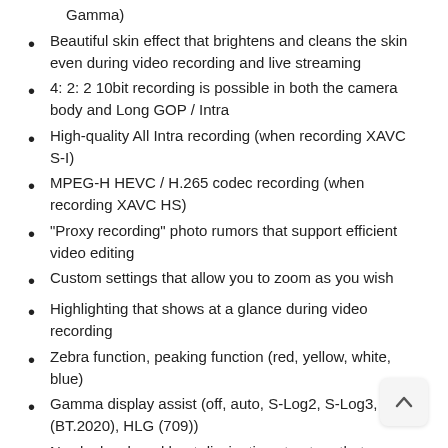Gamma)
Beautiful skin effect that brightens and cleans the skin even during video recording and live streaming
4: 2: 2 10bit recording is possible in both the camera body and Long GOP / Intra
High-quality All Intra recording (when recording XAVC S-I)
MPEG-H HEVC / H.265 codec recording (when recording XAVC HS)
“Proxy recording” photo rumors that support efficient video editing
Custom settings that allow you to zoom as you wish
Highlighting that shows at a glance during video recording
Zebra function, peaking function (red, yellow, white, blue)
Gamma display assist (off, auto, S-Log2, S-Log3, (BT.2020), HLG (709))
Newly developed heat dissipation structure that